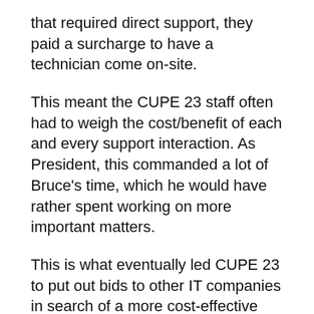that required direct support, they paid a surcharge to have a technician come on-site.
This meant the CUPE 23 staff often had to weigh the cost/benefit of each and every support interaction. As President, this commanded a lot of Bruce’s time, which he would have rather spent working on more important matters.
This is what eventually led CUPE 23 to put out bids to other IT companies in search of a more cost-effective and consistent IT support experience.
CUPE 23 Hired Coleman Technologies For Their Fixed Rate IT Expertise
At a search for other IT service...